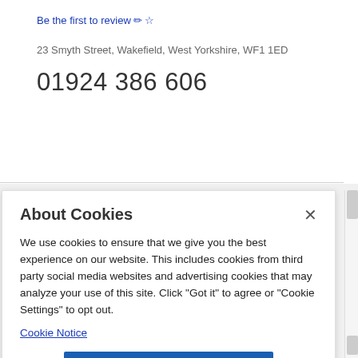Be the first to review ✏☆
23 Smyth Street, Wakefield, West Yorkshire, WF1 1ED
01924 386 606
About Cookies
We use cookies to ensure that we give you the best experience on our website. This includes cookies from third party social media websites and advertising cookies that may analyze your use of this site. Click "Got it" to agree or "Cookie Settings" to opt out.
Cookie Notice
Got It
Cookies Settings